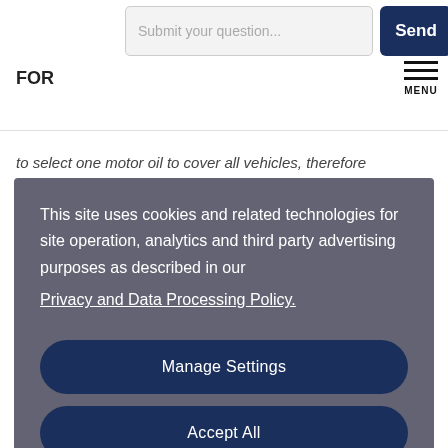FOR
to select one motor oil to cover all vehicles, therefore
This site uses cookies and related technologies for site operation, analytics and third party advertising purposes as described in our Privacy and Data Processing Policy.
Manage Settings
Accept All
The oil has to be compatible with exhaust gas after treatment devices (e.g. TWC and DPF) fitted to comply with the latest emissions regulations (EURO emissions in our region), so there are now limits on the SAPS